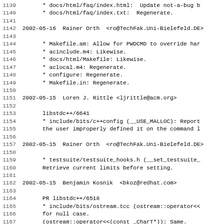1139       * docs/html/faq/index.html:  Update not-a-bug b
1140       * docs/html/faq/index.txt:  Regenerate.
1141
1142 2002-05-16  Rainer Orth  <ro@TechFak.Uni-Bielefeld.DE>
1143
1144       * Makefile.am: Allow for PWDCMD to override har
1145       * acinclude.m4: Likewise.
1146       * docs/html/Makefile: Likewise.
1147       * aclocal.m4: Regenerate.
1148       * configure: Regenerate.
1149       * Makefile.in: Regenerate.
1150
1151 2002-05-15  Loren J. Rittle <ljrittle@acm.org>
1152
1153       libstdc++/6641
1154       * include/bits/c++config (__USE_MALLOC): Report
1155       the user improperly defined it on the command l
1156
1157 2002-05-15  Rainer Orth  <ro@TechFak.Uni-Bielefeld.DE>
1158
1159       * testsuite/testsuite_hooks.h (__set_testsuite_
1160       Retrieve current limits before setting.
1161
1162 2002-05-15  Benjamin Kosnik  <bkoz@redhat.com>
1163
1164       PR libstdc++/6518
1165       * include/bits/ostream.tcc (ostream::operator<<
1166       for null case.
1167       (ostream::operator<<(const _CharT*)): Same.
1168       (ostream<char>::operator<<(const char*)): Same.
1169       * testsuite/27_io/ostream_inserter_char.cc (tes
1170